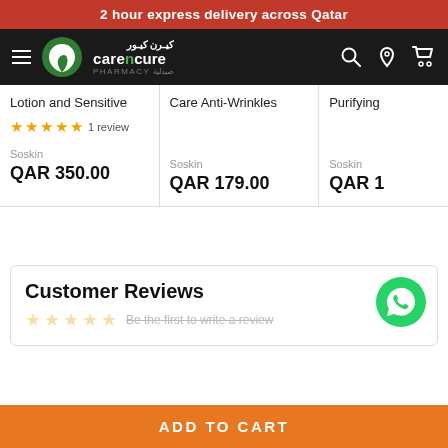2 hour express delivery across Qatar
[Figure (logo): Care n Cure Pharmacy logo with green leaf icon and Arabic text on dark navbar with hamburger menu, search, location, and cart icons]
Lotion and Sensitive
★★★★★ 1 review
Soskin
QAR 350.00
Care Anti-Wrinkles
Soskin
QAR 179.00
Purifying
Soskin
QAR 1
Customer Reviews
Be the first to write a review
ADD TO CART